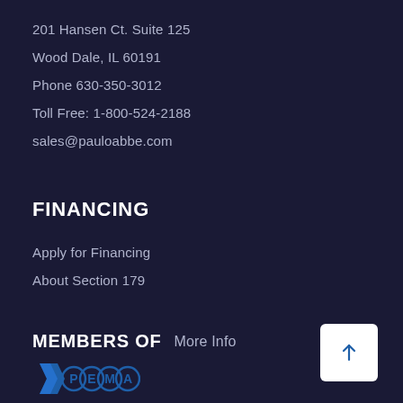201 Hansen Ct. Suite 125
Wood Dale, IL 60191
Phone 630-350-3012
Toll Free: 1-800-524-2188
sales@pauloabbe.com
FINANCING
Apply for Financing
About Section 179
MEMBERS OF
More Info
[Figure (logo): PEMA logo with blue circular letters P, E, M, A and a blue arrow/flag graphic]